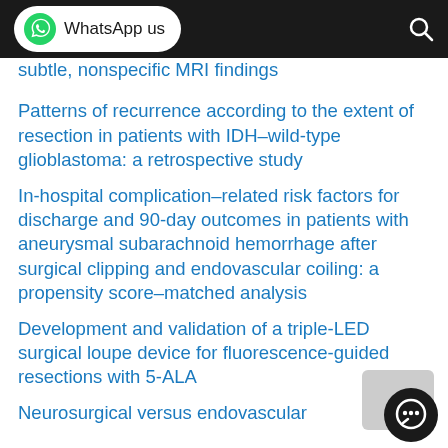WhatsApp us
subtle, nonspecific MRI findings
Patterns of recurrence according to the extent of resection in patients with IDH–wild-type glioblastoma: a retrospective study
In-hospital complication–related risk factors for discharge and 90-day outcomes in patients with aneurysmal subarachnoid hemorrhage after surgical clipping and endovascular coiling: a propensity score–matched analysis
Development and validation of a triple-LED surgical loupe device for fluorescence-guided resections with 5-ALA
Neurosurgical versus endovascular